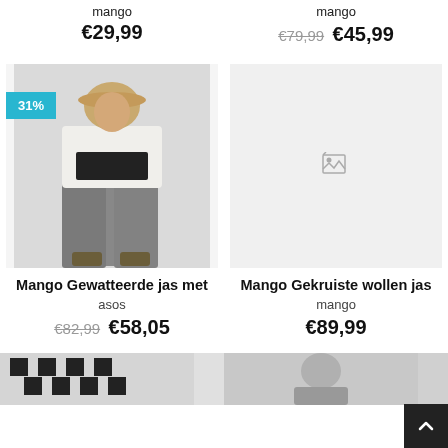mango
€29,99
mango
€79,99  €45,99
[Figure (photo): Fashion model wearing wide-leg grey trousers, white fluffy jacket, black crop top and bucket hat. 31% discount badge on left.]
Mango Gewatteerde jas met
asos
€82,99  €58,05
[Figure (photo): Broken image placeholder for second product photo]
Mango Gekruiste wollen jas
mango
€89,99
[Figure (photo): Partial product image cropped at bottom left, black and white houndstooth pattern]
[Figure (photo): Partial product image cropped at bottom right, person wearing dark clothing]